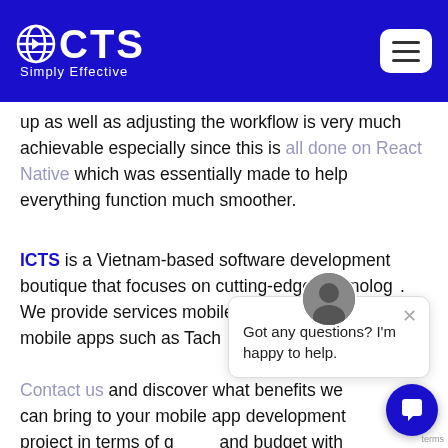ICTS Simply Effective
up as well as adjusting the workflow is very much achievable especially since this is all done on React Native which was essentially made to help everything function much smoother.
ICTS is a Vietnam-based software development boutique that focuses on cutting-edge technology. We provide services mobile app development... mobile apps such as Tach... our portfolio!
Contact us and discover what benefits we can bring to your mobile app development project in terms of quality and budget with React Native.
[Figure (screenshot): Chat popup with avatar and message 'Got any questions? I'm happy to help.']
[Figure (screenshot): Blue circular chat button in bottom right corner]